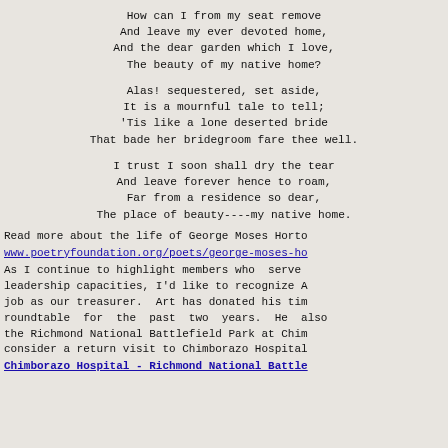How can I from my seat remove
And leave my ever devoted home,
And the dear garden which I love,
The beauty of my native home?

Alas! sequestered, set aside,
It is a mournful tale to tell;
'Tis like a lone deserted bride
That bade her bridegroom fare thee well.

I trust I soon shall dry the tear
And leave forever hence to roam,
Far from a residence so dear,
The place of beauty----my native home.
Read more about the life of George Moses Horto
www.poetryfoundation.org/poets/george-moses-ho
As I continue to highlight members who  serve leadership capacities, I'd like to recognize A job as our treasurer.  Art has donated his tim roundtable  for  the  past  two  years.  He also the Richmond National Battlefield Park at Chim consider a return visit to Chimborazo Hospital
Chimborazo Hospital - Richmond National Battle